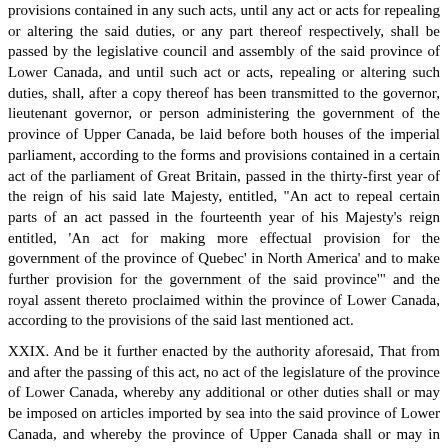provisions contained in any such acts, until any act or acts for repealing or altering the said duties, or any part thereof respectively, shall be passed by the legislative council and assembly of the said province of Lower Canada, and until such act or acts, repealing or altering such duties, shall, after a copy thereof has been transmitted to the governor, lieutenant governor, or person administering the government of the province of Upper Canada, be laid before both houses of the imperial parliament, according to the forms and provisions contained in a certain act of the parliament of Great Britain, passed in the thirty-first year of the reign of his said late Majesty, entitled, "An act to repeal certain parts of an act passed in the fourteenth year of his Majesty's reign entitled, 'An act for making more effectual provision for the government of the province of Quebec' in North America' and to make further provision for the government of the said province'" and the royal assent thereto proclaimed within the province of Lower Canada, according to the provisions of the said last mentioned act.
XXIX. And be it further enacted by the authority aforesaid, That from and after the passing of this act, no act of the legislature of the province of Lower Canada, whereby any additional or other duties shall or may be imposed on articles imported by sea into the said province of Lower Canada, and whereby the province of Upper Canada shall or may in any respect be directly or indirectly affected, shall have the force of law until the same shall have been laid before the imperial parliament, as provided in certain cases by the said act passed in the thirty-first year of his said late Majesty's reign, and the royal assent thereto published by proclamation in the said province of Lower Canada, a copy of such act having, within one month from the time of presenting the same for the